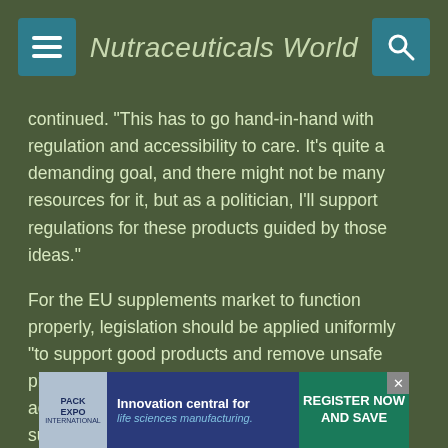Nutraceuticals World
continued. “This has to go hand-in-hand with regulation and accessibility to care. It’s quite a demanding goal, and there might not be many resources for it, but as a politician, I’ll support regulations for these products guided by those ideas.”
For the EU supplements market to function properly, legislation should be applied uniformly “to support good products and remove unsafe products from the market,” according to Ats. “We advocate updating the definition of what a dietary supplement is, and setting up a strong food monitoring system that can collect adverse reactions. Ingredient safety should always be a top priority and substantiated by science. Information shown to consumers also needs to be accurate for them to take these products
[Figure (infographic): Pack Expo advertisement banner: Innovation central for life sciences manufacturing. Register Now and Save.]